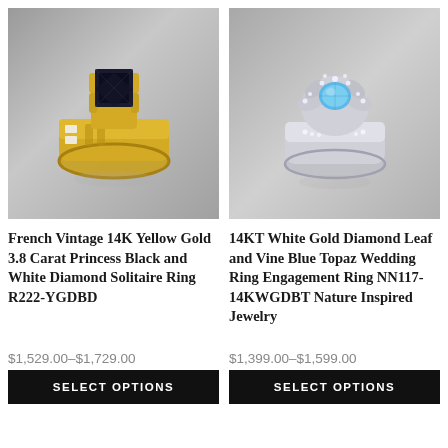[Figure (photo): French Vintage 14K Yellow Gold ring with black princess cut gemstone and diamond accents on gold band, 3D render on gray background]
[Figure (photo): 14KT White Gold Diamond Leaf and Vine ring with blue topaz oval gemstone and floral diamond halo on white gold band, 3D render on gray background]
French Vintage 14K Yellow Gold 3.8 Carat Princess Black and White Diamond Solitaire Ring R222-YGDBD
14KT White Gold Diamond Leaf and Vine Blue Topaz Wedding Ring Engagement Ring NN117-14KWGDBT Nature Inspired Jewelry
$1,529.00–$1,729.00
$1,399.00–$1,599.00
SELECT OPTIONS
SELECT OPTIONS